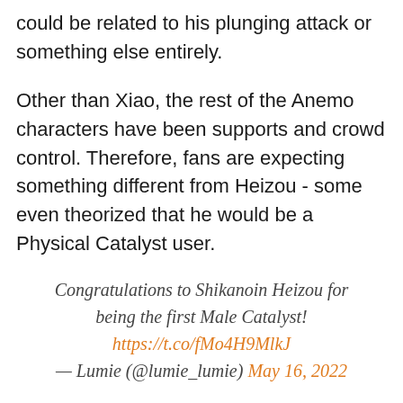could be related to his plunging attack or something else entirely.
Other than Xiao, the rest of the Anemo characters have been supports and crowd control. Therefore, fans are expecting something different from Heizou - some even theorized that he would be a Physical Catalyst user.
Congratulations to Shikanoin Heizou for being the first Male Catalyst! https://t.co/fMo4H9MlkJ — Lumie (@lumie_lumie) May 16, 2022
Backstory
He's an Inazuman detective who works for the Tenryou Commission. He was first mentioned in Kamisato Ayaka's voice-overs and by his distant elder cousin Kano Nana